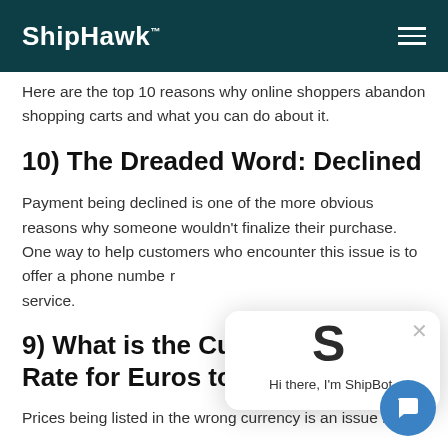ShipHawk
Here are the top 10 reasons why online shoppers abandon shopping carts and what you can do about it.
10) The Dreaded Word: Declined
Payment being declined is one of the more obvious reasons why someone wouldn't finalize their purchase. One way to help customers who encounter this issue is to offer a phone number for customer service.
9) What is the Current Exchange Rate for Euros to Dollars?
Prices being listed in the wrong currency is an issue for